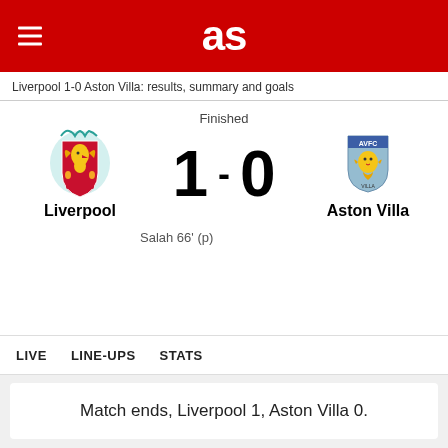as
Liverpool 1-0 Aston Villa: results, summary and goals
[Figure (infographic): Match scoreboard showing Liverpool 1-0 Aston Villa. Status: Finished. Liverpool crest on left, Aston Villa (AVFC) crest on right. Score 1-0 displayed in large numerals with dash separator.]
Liverpool
Aston Villa
Salah 66' (p)
LIVE   LINE-UPS   STATS
Match ends, Liverpool 1, Aston Villa 0.